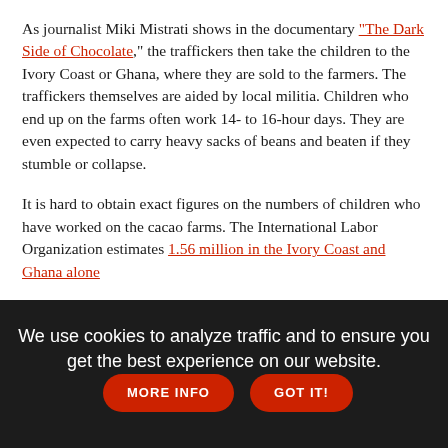As journalist Miki Mistrati shows in the documentary "The Dark Side of Chocolate," the traffickers then take the children to the Ivory Coast or Ghana, where they are sold to the farmers. The traffickers themselves are aided by local militia. Children who end up on the farms often work 14- to 16-hour days. They are even expected to carry heavy sacks of beans and beaten if they stumble or collapse.
It is hard to obtain exact figures on the numbers of children who have worked on the cacao farms. The International Labor Organization estimates 1.56 million in the Ivory Coast and Ghana alone
Given the vast financial network involved in the chocolate trade, it is dangerous work for journalists. Mistrati used hidden cameras and passed himself and his companion off as tourists. He mentions a French journalist who disappeared pursuing the story of childhood slavery.
We use cookies to analyze traffic and to ensure you get the best experience on our website.